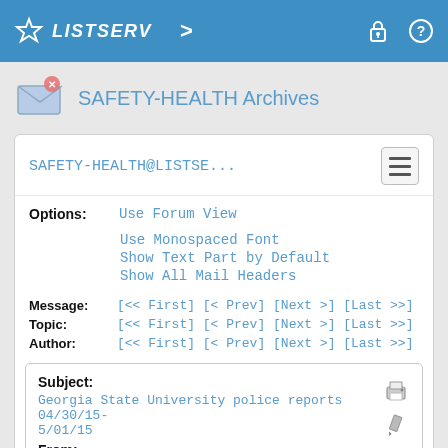LISTSERV
SAFETY-HEALTH Archives
SAFETY-HEALTH@LISTSE...
Options: Use Forum View
Use Monospaced Font
Show Text Part by Default
Show All Mail Headers
Message: [<< First] [< Prev] [Next >] [Last >>]
Topic:   [<< First] [< Prev] [Next >] [Last >>]
Author:  [<< First] [< Prev] [Next >] [Last >>]
Subject: Georgia State University police reports 04/30/15-5/01/15
From: